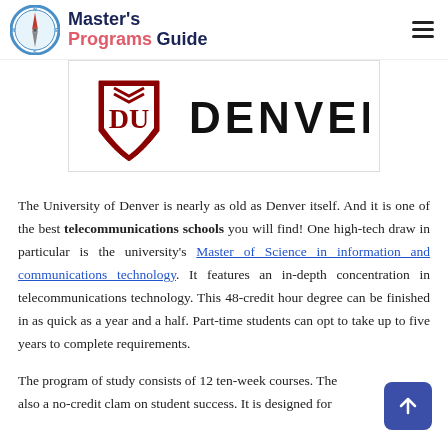Master's Programs Guide
[Figure (logo): University of Denver logo with DU shield and DENVER wordmark]
The University of Denver is nearly as old as Denver itself. And it is one of the best telecommunications schools you will find! One high-tech draw in particular is the university's Master of Science in information and communications technology. It features an in-depth concentration in telecommunications technology. This 48-credit hour degree can be finished in as quick as a year and a half. Part-time students can opt to take up to five years to complete requirements.
The program of study consists of 12 ten-week courses. The also a no-credit clam on student success. It is designed for